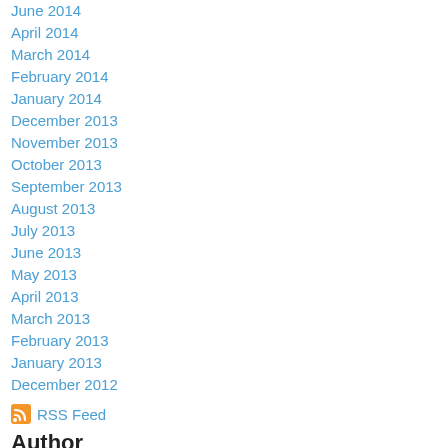June 2014
April 2014
March 2014
February 2014
January 2014
December 2013
November 2013
October 2013
September 2013
August 2013
July 2013
June 2013
May 2013
April 2013
March 2013
February 2013
January 2013
December 2012
RSS Feed
Author